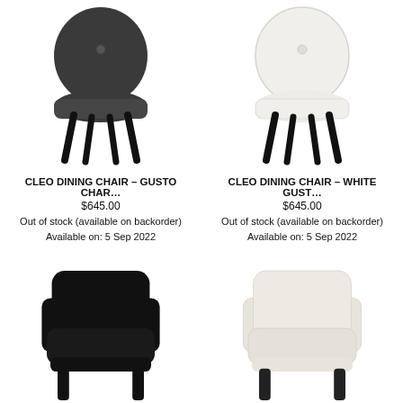[Figure (photo): Dark charcoal Cleo dining chair with round tufted back and black metal legs]
CLEO DINING CHAIR – GUSTO CHAR…
$645.00
Out of stock (available on backorder)
Available on: 5 Sep 2022
[Figure (photo): White/cream Cleo dining chair with round tufted back and black metal legs]
CLEO DINING CHAIR – WHITE GUST…
$645.00
Out of stock (available on backorder)
Available on: 5 Sep 2022
[Figure (photo): Black armchair with wide cushioned seat and back, black legs (partially visible, cut off at bottom)]
[Figure (photo): Cream/white armchair with wide cushioned seat and back, black legs (partially visible, cut off at bottom)]